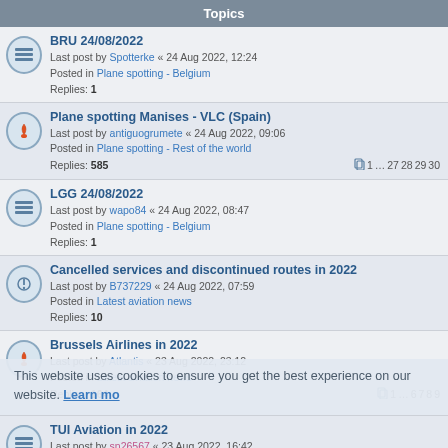Topics
BRU 24/08/2022
Last post by Spotterke « 24 Aug 2022, 12:24
Posted in Plane spotting - Belgium
Replies: 1
Plane spotting Manises - VLC (Spain)
Last post by antiguogrumete « 24 Aug 2022, 09:06
Posted in Plane spotting - Rest of the world
Replies: 585
Pages: 1 ... 27 28 29 30
LGG 24/08/2022
Last post by wapo84 « 24 Aug 2022, 08:47
Posted in Plane spotting - Belgium
Replies: 1
Cancelled services and discontinued routes in 2022
Last post by B737229 « 24 Aug 2022, 07:59
Posted in Latest aviation news
Replies: 10
Brussels Airlines in 2022
Last post by Atlantis « 23 Aug 2022, 23:12
Posted in Latest aviation news
Replies: 164
Pages: 1 ... 6 7 8 9
TUI Aviation in 2022
Last post by sn26567 « 23 Aug 2022, 16:42
Posted in Latest aviation news
Replies: 20
Pages: 1 2
Airline bankruptcies, ceased operations, restructurations